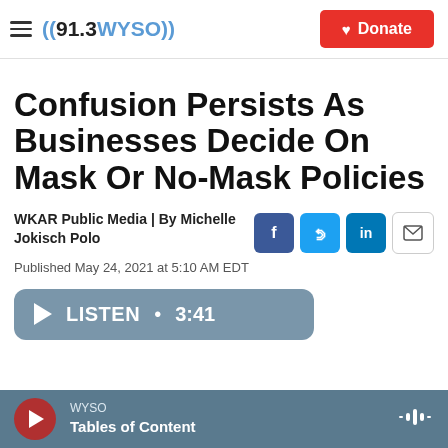((91.3 WYSO)) | Donate
Confusion Persists As Businesses Decide On Mask Or No-Mask Policies
WKAR Public Media | By Michelle Jokisch Polo
Published May 24, 2021 at 5:10 AM EDT
LISTEN • 3:41
WYSO | Tables of Content